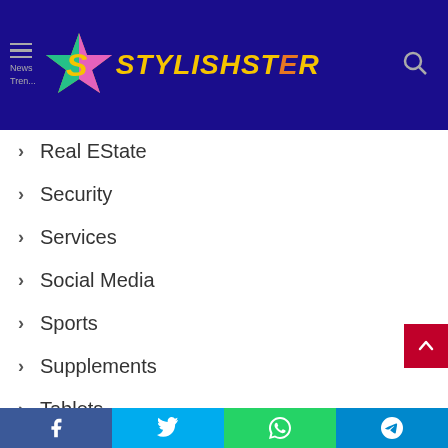Stylishster
Real EState
Security
Services
Social Media
Sports
Supplements
Tablets
Technology
Tips
Trading
Travel
Facebook Twitter WhatsApp Telegram